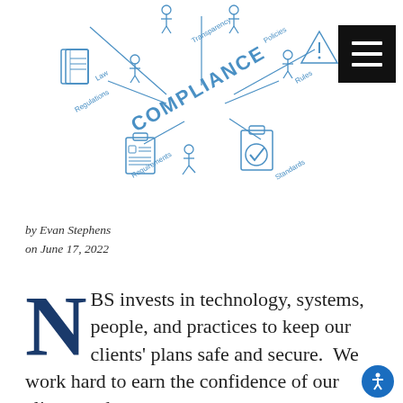[Figure (illustration): Blue line-art isometric compliance diagram with figures of people, clipboards, files, and documents arranged around the word COMPLIANCE in the center, with labels: Law, Regulations, Transparency, Policies, Rules, Standards, Requirements]
by Evan Stephens
on June 17, 2022
NBS invests in technology, systems, people, and practices to keep our clients' plans safe and secure.  We work hard to earn the confidence of our clients and